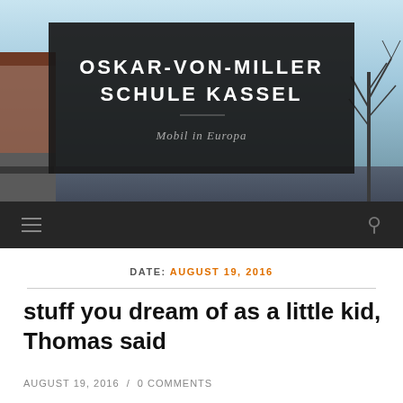[Figure (photo): School building exterior with sky background — header photo for Oskar-von-Miller Schule Kassel website]
OSKAR-VON-MILLER SCHULE KASSEL
Mobil in Europa
DATE: AUGUST 19, 2016
stuff you dream of as a little kid, Thomas said
AUGUST 19, 2016 / 0 COMMENTS